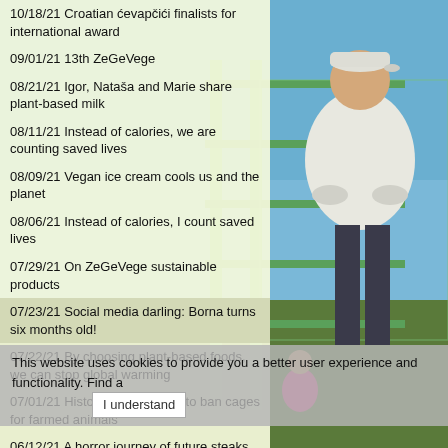[Figure (photo): Man standing at a green metal gate fence outdoors under blue sky, wearing white jacket and cap, with a child in pink visible in background]
10/18/21 Croatian ćevapčići finalists for international award
09/01/21 13th ZeGeVege
08/21/21 Igor, Nataša and Marie share plant-based milk
08/11/21 Instead of calories, we are counting saved lives
08/09/21 Vegan ice cream cools us and the planet
08/06/21 Instead of calories, I count saved lives
07/29/21 On ZeGeVege sustainable products
07/23/21 Social media darling: Borna turns six months old!
07/22/21 By choosing plant-based foods, we can stop global warming
07/01/21 Historic commitment to ban cages for farmed animals
06/12/21 A horror journey of future steaks
05/31/21 Celebrate Plant-Based Burger Day
05/20/21 The Abundance of Vegan Products at the 19th
This website uses cookies to provide you a better user experience and functionality. Find a I understand